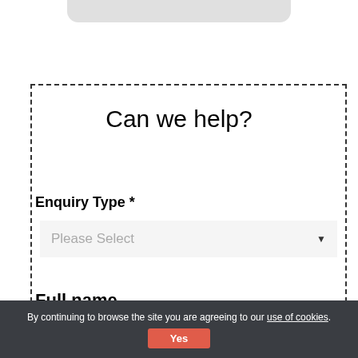Can we help?
Enquiry Type *
Please Select
Full name
First Name
By continuing to browse the site you are agreeing to our use of cookies.
Yes